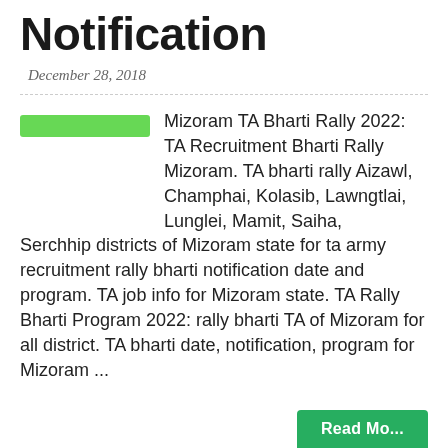Notification
December 28, 2018
[Figure (other): Green highlighted bar (image placeholder)]
Mizoram TA Bharti Rally 2022: TA Recruitment Bharti Rally Mizoram. TA bharti rally Aizawl, Champhai, Kolasib, Lawngtlai, Lunglei, Mamit, Saiha, Serchhip districts of Mizoram state for ta army recruitment rally bharti notification date and program. TA job info for Mizoram state. TA Rally Bharti Program 2022: rally bharti TA of Mizoram for all district. TA bharti date, notification, program for Mizoram ...